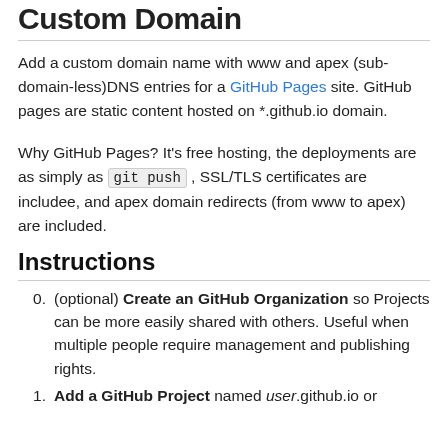Custom Domain
Add a custom domain name with www and apex (sub-domain-less)DNS entries for a GitHub Pages site. GitHub pages are static content hosted on *.github.io domain.
Why GitHub Pages? It's free hosting, the deployments are as simply as git push , SSL/TLS certificates are includee, and apex domain redirects (from www to apex) are included.
Instructions
0. (optional) Create an GitHub Organization so Projects can be more easily shared with others. Useful when multiple people require management and publishing rights.
1. Add a GitHub Project named user.github.io or